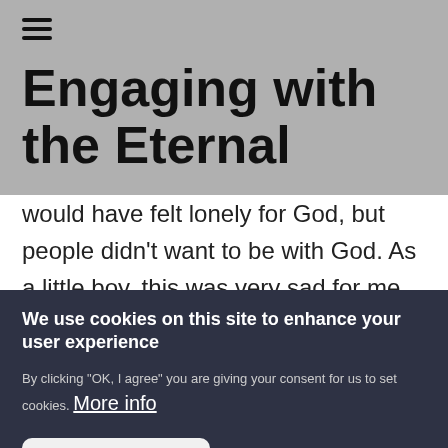≡
Engaging with the Eternal
would have felt lonely for God, but people didn't want to be with God. As a little boy, this was very sad for me, because I loved nothing more than to be with my papa. I couldn't imagine
We use cookies on this site to enhance your user experience
By clicking "OK, I agree" you are giving your consent for us to set cookies. More info
OK, I agree
Decline